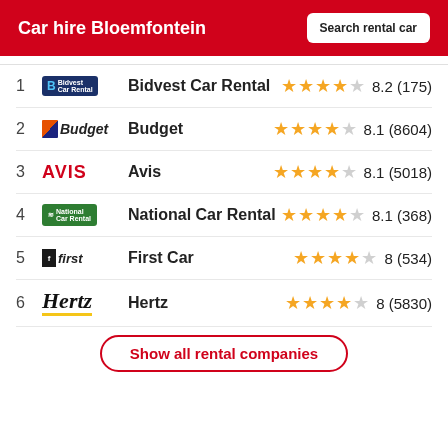Car hire Bloemfontein
1 Bidvest Car Rental 8.2 (175)
2 Budget 8.1 (8604)
3 Avis 8.1 (5018)
4 National Car Rental 8.1 (368)
5 First Car 8 (534)
6 Hertz 8 (5830)
Show all rental companies